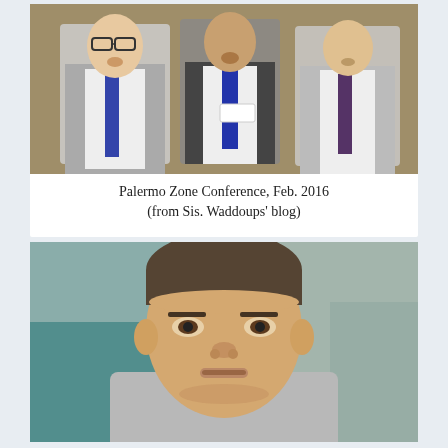[Figure (photo): Three young men in suits and ties standing together, appearing to sing or speak, in an indoor setting with wood-paneled walls.]
Palermo Zone Conference, Feb. 2016
(from Sis. Waddoups’ blog)
[Figure (photo): Close-up portrait of a young man with short hair wearing a light gray suit, looking slightly downward, in an indoor setting.]